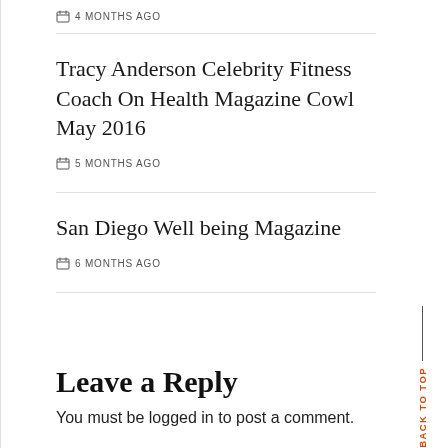4 MONTHS AGO
Tracy Anderson Celebrity Fitness Coach On Health Magazine Cowl May 2016
5 MONTHS AGO
San Diego Well being Magazine
6 MONTHS AGO
Leave a Reply
You must be logged in to post a comment.